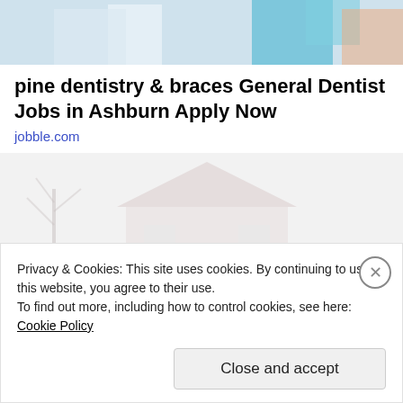[Figure (photo): Top banner image showing dental office or building exterior with blue and orange colors]
pine dentistry & braces General Dentist Jobs in Ashburn Apply Now
jobble.com
[Figure (photo): Faded light gray image of a house exterior with bare trees]
Privacy & Cookies: This site uses cookies. By continuing to use this website, you agree to their use.
To find out more, including how to control cookies, see here: Cookie Policy
Close and accept